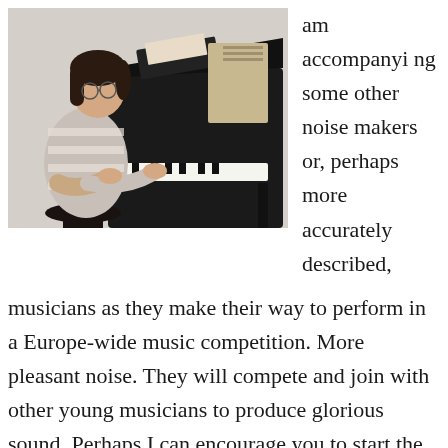[Figure (photo): A young woman with dark hair sitting at a black grand piano, playing, wearing a grey and white striped sweater. The photo is taken in what appears to be a music room.]
am accompanying some other noise makers or, perhaps more accurately described, musicians as they make their way to perform in a Europe-wide music competition. More pleasant noise. They will compete and join with other young musicians to produce glorious sound. Perhaps I can encourage you to start the next mid-week bank holiday by coming to the Jazz Band's concert on Tuesday night. Not only will you have the opportunity to hear our Jazz Band hitting the high notes but also a